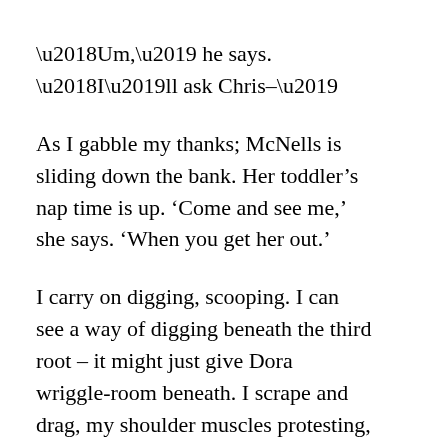‘Um,’ he says. ‘I’ll ask Chris–’
As I gabble my thanks; McNells is sliding down the bank. Her toddler’s nap time is up. ‘Come and see me,’ she says. ‘When you get her out.’
I carry on digging, scooping. I can see a way of digging beneath the third root – it might just give Dora wriggle‐room beneath. I scrape and drag, my shoulder muscles protesting, the cold dampness of the soil against my thighs, my belly. I have mud in my mouth, I can feel the grit as I push my tongue against my teeth. Dig, scrape. Pants is slobbering in my ear, trying to see down the hole. Images of angry cartoon